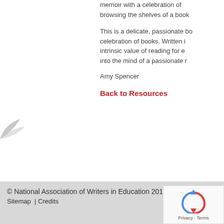memoir with a celebration of browsing the shelves of a book
This is a delicate, passionate celebration of books. Written intrinsic value of reading for e into the mind of a passionate r
Amy Spencer
Back to Resources
© National Association of Writers in Education 2010-2018
Sitemap  |  Credits